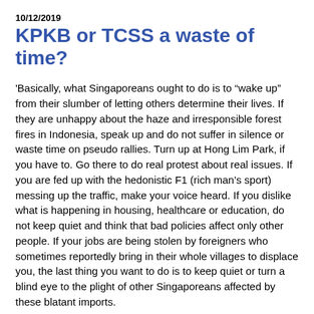10/12/2019
KPKB or TCSS a waste of time?
'Basically, what Singaporeans ought to do is to “wake up” from their slumber of letting others determine their lives. If they are unhappy about the haze and irresponsible forest fires in Indonesia, speak up and do not suffer in silence or waste time on pseudo rallies. Turn up at Hong Lim Park, if you have to. Go there to do real protest about real issues. If you are fed up with the hedonistic F1 (rich man’s sport) messing up the traffic, make your voice heard. If you dislike what is happening in housing, healthcare or education, do not keep quiet and think that bad policies affect only other people. If your jobs are being stolen by foreigners who sometimes reportedly bring in their whole villages to displace you, the last thing you want to do is to keep quiet or turn a blind eye to the plight of other Singaporeans affected by these blatant imports.
Voice your concerns. Write letters. Be more civic-conscious, pay greater attention, even if the public discussions do not seem to affect you immediately.